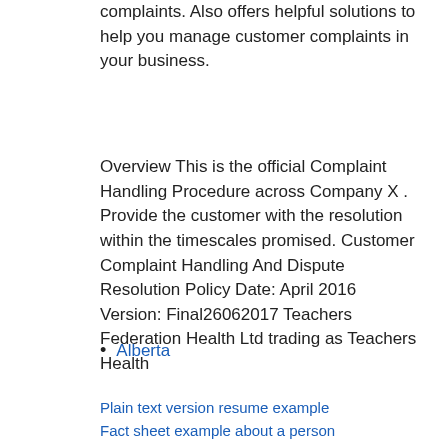complaints. Also offers helpful solutions to help you manage customer complaints in your business.
Overview This is the official Complaint Handling Procedure across Company X . Provide the customer with the resolution within the timescales promised. Customer Complaint Handling And Dispute Resolution Policy Date: April 2016 Version: Final26062017 Teachers Federation Health Ltd trading as Teachers Health
Alberta
Plain text version resume example
Fact sheet example about a person